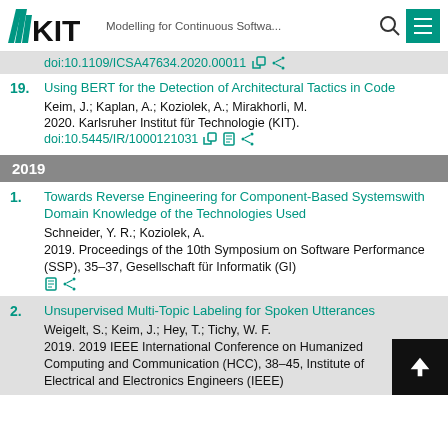KIT — Modelling for Continuous Softwa...
doi:10.1109/ICSA47634.2020.00011
19. Using BERT for the Detection of Architectural Tactics in Code
Keim, J.; Kaplan, A.; Koziolek, A.; Mirakhorli, M.
2020. Karlsruher Institut für Technologie (KIT).
doi:10.5445/IR/1000121031
2019
1. Towards Reverse Engineering for Component-Based Systemswith Domain Knowledge of the Technologies Used
Schneider, Y. R.; Koziolek, A.
2019. Proceedings of the 10th Symposium on Software Performance (SSP), 35–37, Gesellschaft für Informatik (GI)
2. Unsupervised Multi-Topic Labeling for Spoken Utterances
Weigelt, S.; Keim, J.; Hey, T.; Tichy, W. F.
2019. 2019 IEEE International Conference on Humanized Computing and Communication (HCC), 38–45, Institute of Electrical and Electronics Engineers (IEEE)